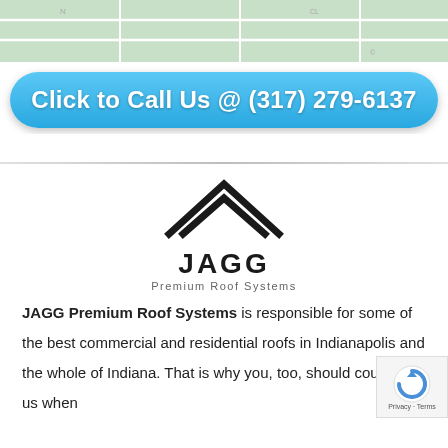[Figure (map): Street map background showing green land areas and white roads]
Click to Call Us @ (317) 279-6137
[Figure (logo): JAGG Premium Roof Systems logo with roof/chevron icon above the text JAGG Premium Roof Systems]
JAGG Premium Roof Systems is responsible for some of the best commercial and residential roofs in Indianapolis and the whole of Indiana. That is why you, too, should count on us when